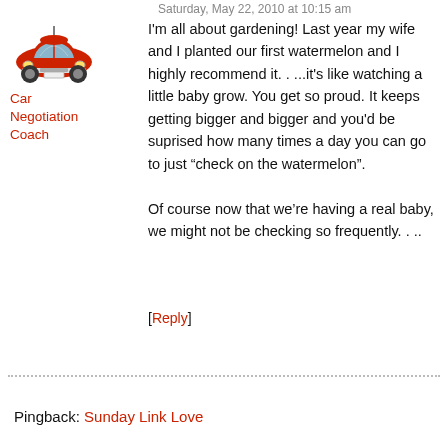Saturday, May 22, 2010 at 10:15 am
[Figure (illustration): Red cartoon car (VW Beetle style) facing front]
Car Negotiation Coach
I'm all about gardening! Last year my wife and I planted our first watermelon and I highly recommend it. . ...it's like watching a little baby grow. You get so proud. It keeps getting bigger and bigger and you'd be suprised how many times a day you can go to just “check on the watermelon”.

Of course now that we’re having a real baby, we might not be checking so frequently. . ..
[Reply]
Pingback: Sunday Link Love